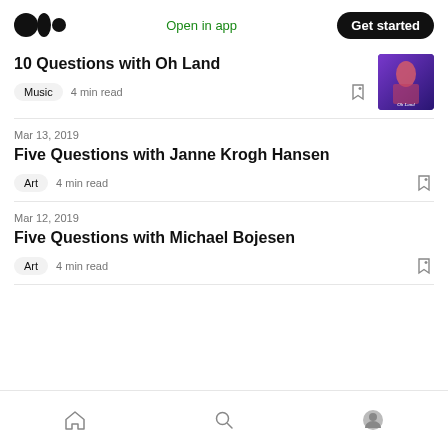Medium logo | Open in app | Get started
10 Questions with Oh Land
Music  4 min read
Mar 13, 2019
Five Questions with Janne Krogh Hansen
Art  4 min read
Mar 12, 2019
Five Questions with Michael Bojesen
Art  4 min read
Home | Search | Profile